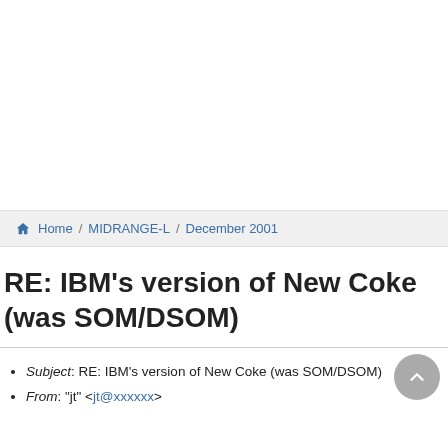Home / MIDRANGE-L / December 2001
RE: IBM's version of New Coke (was SOM/DSOM)
Subject: RE: IBM's version of New Coke (was SOM/DSOM)
From: "jt" <jt@xxxxxx>